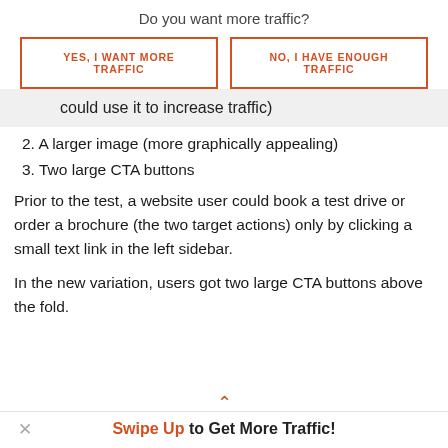Do you want more traffic?
[Figure (screenshot): Two orange-bordered CTA buttons: 'YES, I WANT MORE TRAFFIC' and 'NO, I HAVE ENOUGH TRAFFIC']
could use it to increase traffic)
2. A larger image (more graphically appealing)
3. Two large CTA buttons
Prior to the test, a website user could book a test drive or order a brochure (the two target actions) only by clicking a small text link in the left sidebar.
In the new variation, users got two large CTA buttons above the fold.
Swipe Up to Get More Traffic!